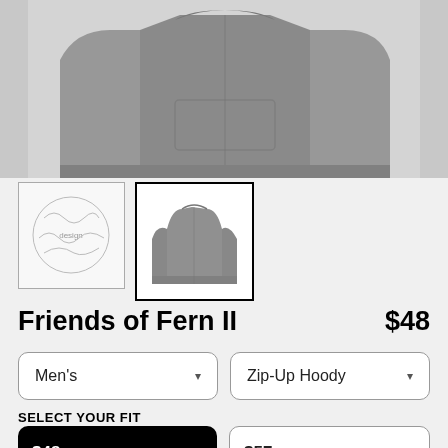[Figure (photo): Product image showing grey zip-up hoody from back/front views against light grey background]
[Figure (photo): Two product thumbnail images: left shows illustrated design, right (selected, with black border) shows grey hoodie back view]
Friends of Fern II   $48
Men's   Zip-Up Hoody (dropdowns)
SELECT YOUR FIT
$48
French Terry
$57
Sponge Fleece